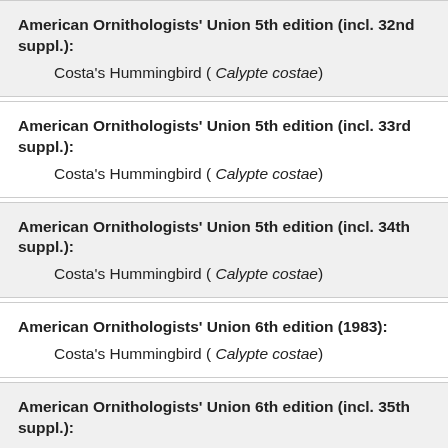American Ornithologists' Union 5th edition (incl. 32nd suppl.): Costa's Hummingbird ( Calypte costae)
American Ornithologists' Union 5th edition (incl. 33rd suppl.): Costa's Hummingbird ( Calypte costae)
American Ornithologists' Union 5th edition (incl. 34th suppl.): Costa's Hummingbird ( Calypte costae)
American Ornithologists' Union 6th edition (1983): Costa's Hummingbird ( Calypte costae)
American Ornithologists' Union 6th edition (incl. 35th suppl.): Costa's Hummingbird ( Calypte costae)